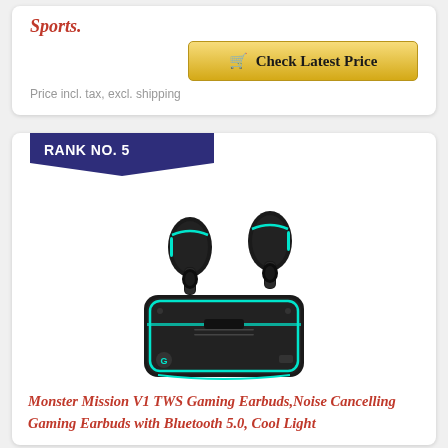Sports.
Check Latest Price
Price incl. tax, excl. shipping
RANK NO. 5
[Figure (photo): Product photo of Monster Mission V1 TWS Gaming Earbuds with charging case, black with teal/cyan LED accents]
Monster Mission V1 TWS Gaming Earbuds,Noise Cancelling Gaming Earbuds with Bluetooth 5.0, Cool Light